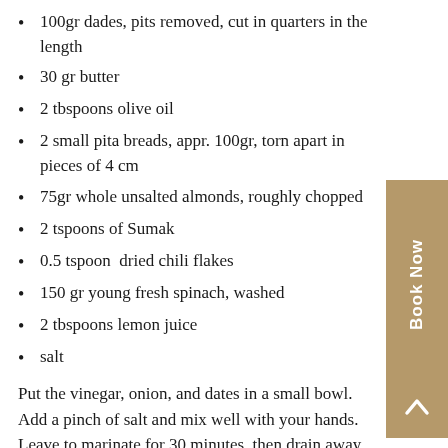100gr dades, pits removed, cut in quarters in the length
30 gr butter
2 tbspoons olive oil
2 small pita breads, appr. 100gr, torn apart in pieces of 4 cm
75gr whole unsalted almonds, roughly chopped
2 tspoons of Sumak
0.5 tspoon  dried chili flakes
150 gr young fresh spinach, washed
2 tbspoons lemon juice
salt
Put the vinegar, onion, and dates in a small bowl. Add a pinch of salt and mix well with your hands. Leave to marinate for 30 minutes, then drain away any